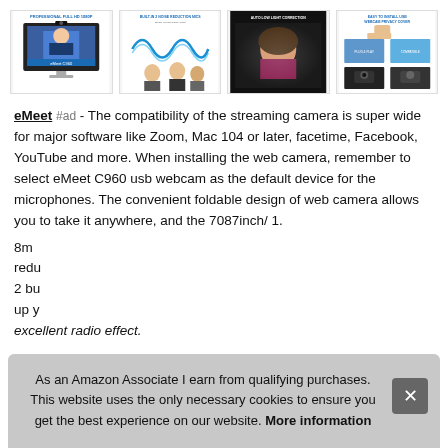[Figure (photo): Four product images of eMeet webcam showing: 1) Professional Full HD 1080P camera on monitor with person, 2) Built-in noise reduction mic with sound wave graphic and people, 3) Auto low light correction with woman on screen, 4) Easy to install USB webcam privacy cover showing assembly steps]
eMeet #ad - The compatibility of the streaming camera is super wide for major software like Zoom, Mac 104 or later, facetime, Facebook, YouTube and more. When installing the web camera, remember to select eMeet C960 usb webcam as the default device for the microphones. The convenient foldable design of web camera allows you to take it anywhere, and the 7087inch/ 1.
8m [partially obscured] redu [partially obscured] 2 bu [partially obscured] up y [partially obscured] excellent radio effect.
As an Amazon Associate I earn from qualifying purchases. This website uses the only necessary cookies to ensure you get the best experience on our website. More information